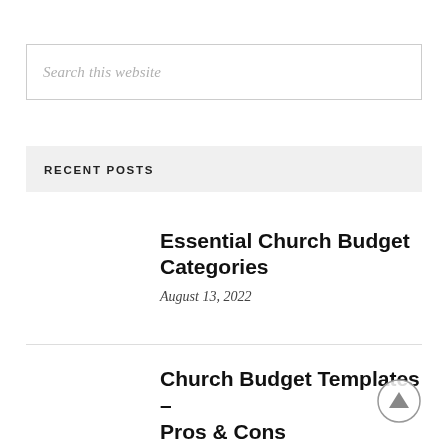Search this website
RECENT POSTS
Essential Church Budget Categories
August 13, 2022
Church Budget Templates – Pros & Cons
August 13, 2022